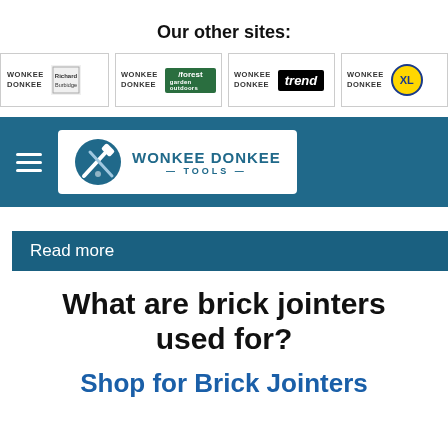Our other sites:
[Figure (logo): Four Wonkee Donkee partner site logos: Richard Burbidge, Forest Garden, Trend, and XL]
[Figure (logo): Wonkee Donkee Tools navigation bar with hamburger menu and logo]
Read more
What are brick jointers used for?
Shop for Brick Jointers